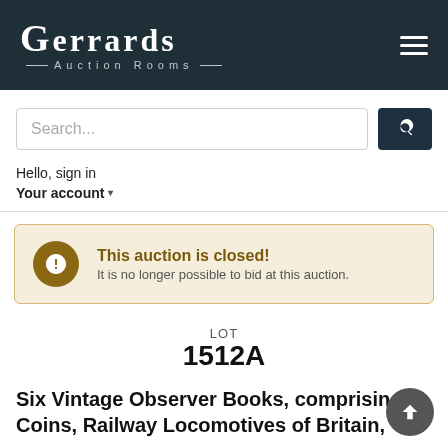GERRARDS AUCTION ROOMS
[Figure (screenshot): Search bar input with placeholder text 'Search...' and a dark blue search button with magnifying glass icon]
Hello, sign in
Your account
This auction is closed! It is no longer possible to bid at this auction.
LOT
1512A
Six Vintage Observer Books, comprising Coins, Railway Locomotives of Britain,
Back to: Fine Arts, Antiques, Jewellery, Silver & Quality Collectables CATALOGUE UPDATED DAILY